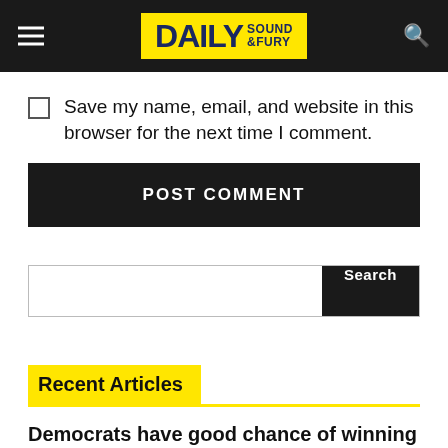DAILY SOUND & FURY
Save my name, email, and website in this browser for the next time I comment.
POST COMMENT
Search
Recent Articles
Democrats have good chance of winning the Mar-a-Lago midterms